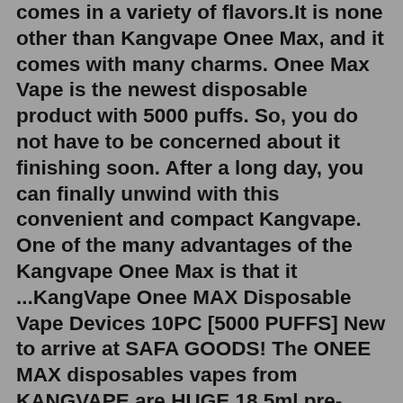comes in a variety of flavors.It is none other than Kangvape Onee Max, and it comes with many charms. Onee Max Vape is the newest disposable product with 5000 puffs. So, you do not have to be concerned about it finishing soon. After a long day, you can finally unwind with this convenient and compact Kangvape. One of the many advantages of the Kangvape Onee Max is that it ...KangVape Onee MAX Disposable Vape Devices 10PC [5000 PUFFS] New to arrive at SAFA GOODS! The ONEE MAX disposables vapes from KANGVAPE are HUGE 18.5ml pre-filled e-juice capacity that is more than enough to keep any customer happy! Paired with a 1000mAh battery it will last up to 5000 puffs! Try ALL 19 flavors today at SAFAGOODS.COM ! Kangvape Onee Max Disposable Vape Device is an ultra-compact and easy-to-carry disposable device with pre-filled nic salt e-liquid. The Kangvape Onee Max Disposable uses a built-in 1000mAh battery and direct draw-activated firing mechanism, which will give Vape enthusiasts an incredible vaping life